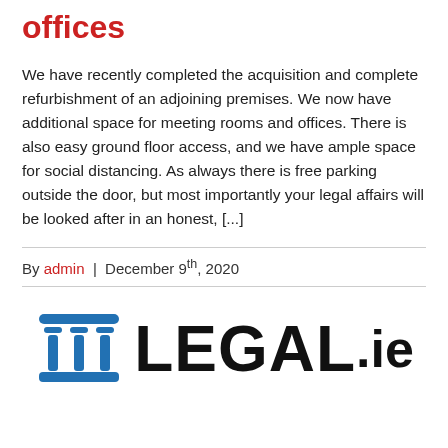offices
We have recently completed the acquisition and complete refurbishment of an adjoining premises. We now have additional space for meeting rooms and offices. There is also easy ground floor access, and we have ample space for social distancing. As always there is free parking outside the door, but most importantly your legal affairs will be looked after in an honest, [...]
By admin | December 9th, 2020
[Figure (logo): LEGAL.ie logo with blue classical column icon and bold black LEGAL.ie text]